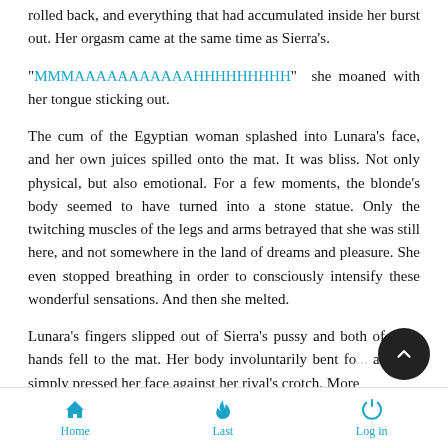rolled back, and everything that had accumulated inside her burst out. Her orgasm came at the same time as Sierra's.
“MMMAAAAAAAAAAAAHHHHHHHHHH” she moaned with her tongue sticking out.
The cum of the Egyptian woman splashed into Lunara's face, and her own juices spilled onto the mat. It was bliss. Not only physical, but also emotional. For a few moments, the blonde's body seemed to have turned into a stone statue. Only the twitching muscles of the legs and arms betrayed that she was still here, and not somewhere in the land of dreams and pleasure. She even stopped breathing in order to consciously intensify these wonderful sensations. And then she melted.
Lunara's fingers slipped out of Sierra's pussy and both of girl's hands fell to the mat. Her body involuntarily bent fo... and she simply pressed her face against her rival's crotch. More
Home   Last   Log in